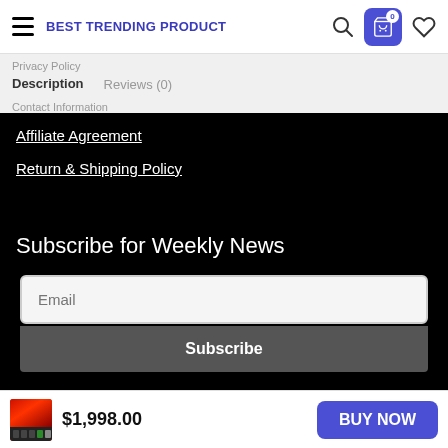BEST TRENDING PRODUCT
Description   Reviews (0)
Affiliate Agreement
Return & Shipping Policy
Subscribe for Weekly News
Email
Subscribe
$1,998.00
BUY NOW